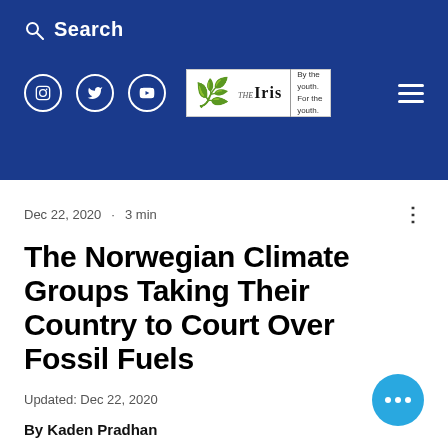Search
[Figure (logo): The Iris logo — 'By the youth. For the youth.' with social media icons (Instagram, Twitter, YouTube) and hamburger menu]
Dec 22, 2020 · 3 min
The Norwegian Climate Groups Taking Their Country to Court Over Fossil Fuels
Updated: Dec 22, 2020
By Kaden Pradhan